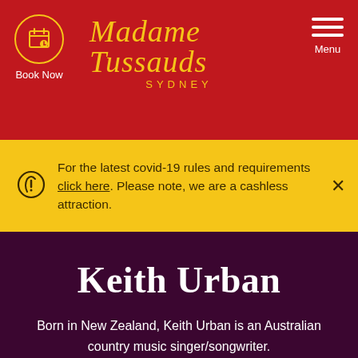Madame Tussauds Sydney — Book Now | Menu
For the latest covid-19 rules and requirements click here. Please note, we are a cashless attraction.
Keith Urban
Born in New Zealand, Keith Urban is an Australian country music singer/songwriter.